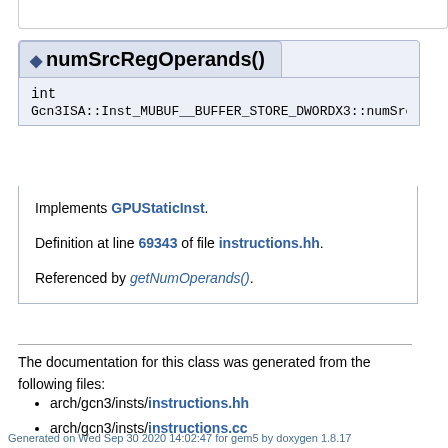◆ numSrcRegOperands()
int
Gcn3ISA::Inst_MUBUF__BUFFER_STORE_DWORDX3::numSrcRe...
Implements GPUStaticInst.
Definition at line 69343 of file instructions.hh.
Referenced by getNumOperands().
The documentation for this class was generated from the following files:
arch/gcn3/insts/instructions.hh
arch/gcn3/insts/instructions.cc
Generated on Wed Sep 30 2020 14:02:47 for gem5 by doxygen 1.8.17